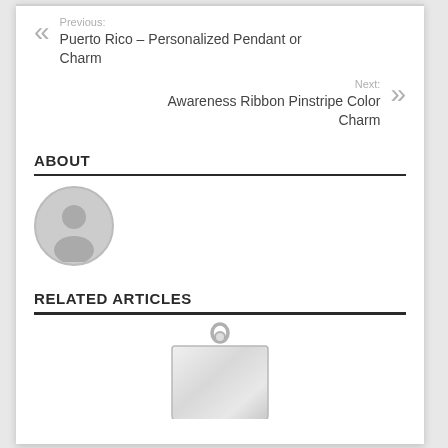Previous: Puerto Rico – Personalized Pendant or Charm
Next: Awareness Ribbon Pinstripe Color Charm
ABOUT
[Figure (illustration): Default avatar/user profile icon — grey circle with a generic person silhouette]
RELATED ARTICLES
[Figure (photo): Silver dog-tag style pendant charm, partially visible at bottom of page]